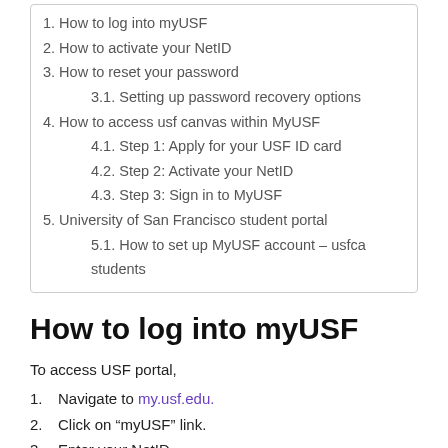1. How to log into myUSF
2. How to activate your NetID
3. How to reset your password
3.1. Setting up password recovery options
4. How to access usf canvas within MyUSF
4.1. Step 1: Apply for your USF ID card
4.2. Step 2: Activate your NetID
4.3. Step 3: Sign in to MyUSF
5. University of San Francisco student portal
5.1. How to set up MyUSF account – usfca students
How to log into myUSF
To access USF portal,
1. Navigate to my.usf.edu.
2. Click on “myUSF” link.
3. Enter your NetID.